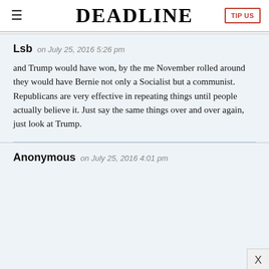☰ DEADLINE TIP US
Lsb on July 25, 2016 5:26 pm

and Trump would have won, by the me November rolled around they would have Bernie not only a Socialist but a communist. Republicans are very effective in repeating things until people actually believe it. Just say the same things over and over again, just look at Trump.
Anonymous on July 25, 2016 4:01 pm